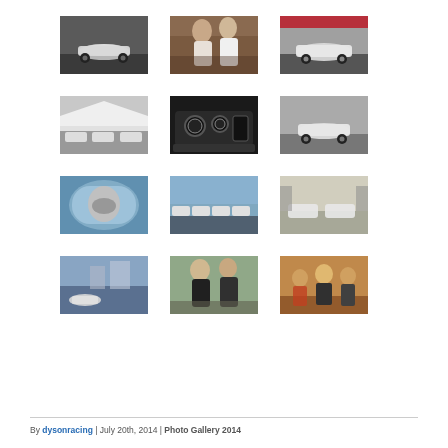[Figure (photo): Grid of 12 racing/motorsport photo thumbnails in 4 rows of 3. Row 1: white race car on track, two people talking in paddock, white race car on track. Row 2: pit lane scene with cars, cockpit/dashboard interior, white car cornering. Row 3: driver in cockpit closeup, line of white cars in pit lane, cars in garage/indoor setting. Row 4: race car on street circuit with buildings, two people talking, group of people at event.]
By dysonracing | July 20th, 2014 | Photo Gallery 2014